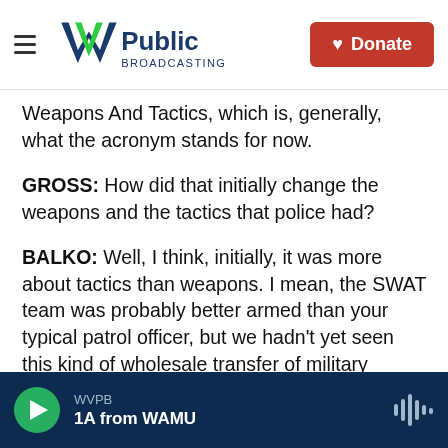WV Public Broadcasting | Donate
Weapons And Tactics, which is, generally, what the acronym stands for now.
GROSS: How did that initially change the weapons and the tactics that police had?
BALKO: Well, I think, initially, it was more about tactics than weapons. I mean, the SWAT team was probably better armed than your typical patrol officer, but we hadn't yet seen this kind of wholesale transfer of military equipment from the Pentagon to local police departments. Instead, it was about tactics. It was about having a kind of militaristic, you know, well-coordinated, well-trained
WVPB | 1A from WAMU